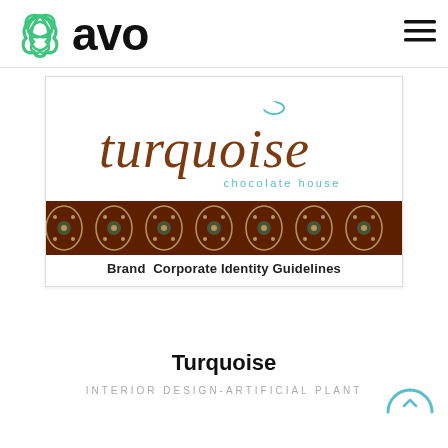[Figure (logo): AVO website header logo: a green triquetra/trinity knot icon followed by bold black lowercase text 'avo', with a hamburger menu icon (three horizontal lines) on the right]
[Figure (illustration): Turquoise Chocolate House brand corporate identity guidelines document cover image. Shows stylized script text 'turquoise' in brown/chocolate color with a teal crescent accent, subtitle 'chocolate house' in teal, and a decorative ornamental band in dark brown with teal and gold floral patterns, followed by text 'Brand Corporate Identity Guidelines']
Turquoise
INTERIOR DESIGN-ARTIFICIAL PLANT